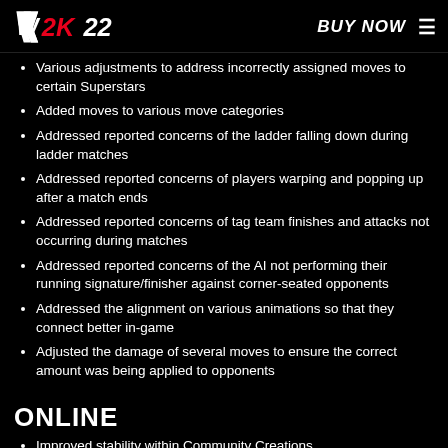WWE 2K22 | BUY NOW
Various adjustments to address incorrectly assigned moves to certain Superstars
Added moves to various move categories
Addressed reported concerns of the ladder falling down during ladder matches
Addressed reported concerns of players warping and popping up after a match ends
Addressed reported concerns of tag team finishes and attacks not occurring during matches
Addressed reported concerns of the AI not performing their running signature/finisher against corner-seated opponents
Addressed the alignment on various animations so that they connect better in-game
Adjusted the damage of several moves to ensure the correct amount was being applied to opponents
ONLINE
Improved stability within Community Creations